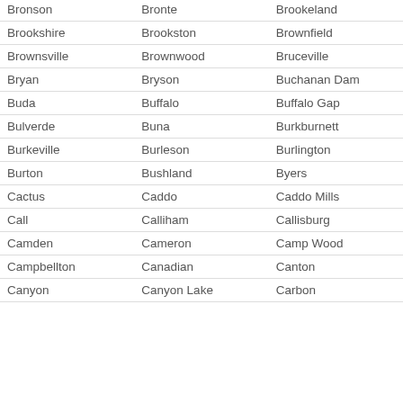| Bronson | Bronte | Brookeland |
| Brookshire | Brookston | Brownfield |
| Brownsville | Brownwood | Bruceville |
| Bryan | Bryson | Buchanan Dam |
| Buda | Buffalo | Buffalo Gap |
| Bulverde | Buna | Burkburnett |
| Burkeville | Burleson | Burlington |
| Burton | Bushland | Byers |
| Cactus | Caddo | Caddo Mills |
| Call | Calliham | Callisburg |
| Camden | Cameron | Camp Wood |
| Campbellton | Canadian | Canton |
| Canyon | Canyon Lake | Carbon |